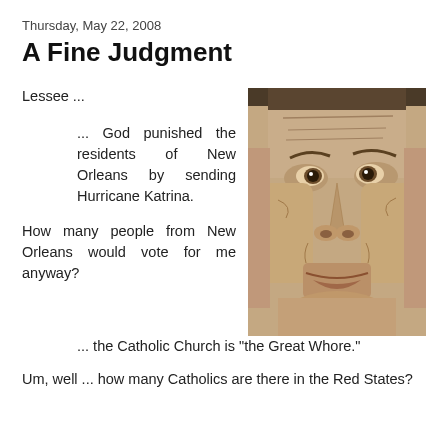Thursday, May 22, 2008
A Fine Judgment
Lessee ...
... God punished the residents of New Orleans by sending Hurricane Katrina.
[Figure (photo): Close-up photograph of an older man's face, showing wrinkled skin, dark eyes, and a serious expression.]
How many people from New Orleans would vote for me anyway?
... the Catholic Church is "the Great Whore."
Um, well ... how many Catholics are there in the Red States?